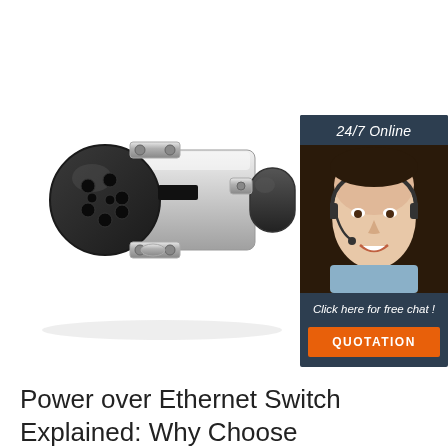[Figure (photo): A cylindrical metal electrical connector/plug with black face showing 8 pin holes arranged in a circular pattern, chrome/silver body with mounting flanges and screws, and a black cable entry on the right side.]
[Figure (photo): 24/7 online chat widget showing a smiling woman wearing a headset with text 'Click here for free chat!' and an orange QUOTATION button, on a dark navy background.]
Power over Ethernet Switch Explained: Why Choose